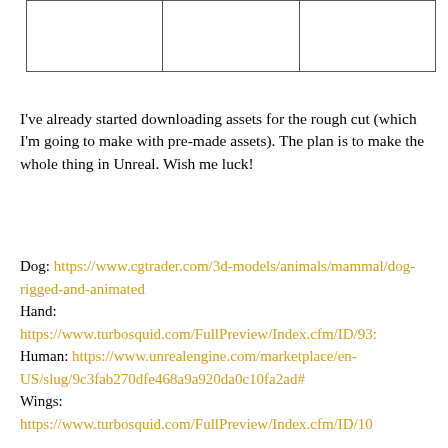[Figure (table-as-image): A partial table with 3 columns and 1 visible row of empty cells, shown at the top of the page.]
I've already started downloading assets for the rough cut (which I'm going to make with pre-made assets). The plan is to make the whole thing in Unreal. Wish me luck!
Dog: https://www.cgtrader.com/3d-models/animals/mammal/dog-rigged-and-animated
Hand:
https://www.turbosquid.com/FullPreview/Index.cfm/ID/93...
Human: https://www.unrealengine.com/marketplace/en-US/slug/9c3fab270dfe468a9a920da0c10fa2ad#
Wings:
https://www.turbosquid.com/FullPreview/Index.cfm/ID/10...